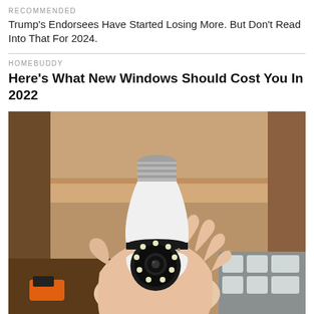RECOMMENDED
Trump's Endorsees Have Started Losing More. But Don't Read Into That For 2024.
HOMEBUDDY
Here's What New Windows Should Cost You In 2022
[Figure (photo): A hand holding a white light-bulb-shaped security camera with a circular lens and LED lights in the center, in front of a wooden shelf background with orange tool and white plastic parts visible.]